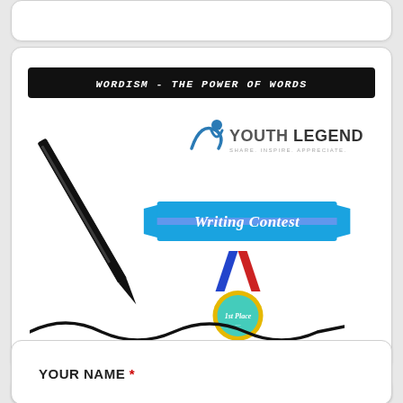[Figure (logo): Wordism - The Power of Words banner with Youth Legend Writing Contest logo, pen illustration, medal, and wavy signature line]
YOUR NAME *